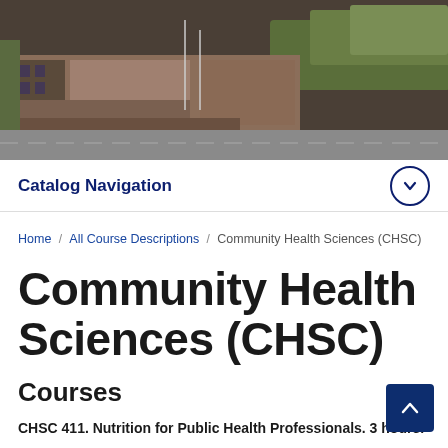[Figure (photo): Aerial/elevated view of a university campus building surrounded by autumn trees and a parking area. Brick architecture visible.]
Catalog Navigation
Home / All Course Descriptions / Community Health Sciences (CHSC)
Community Health Sciences (CHSC)
Courses
CHSC 411. Nutrition for Public Health Professionals. 3 hours.